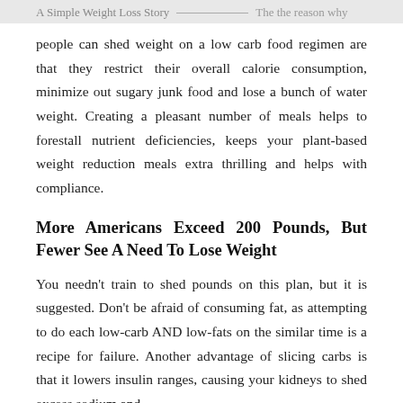A Simple Weight Loss Story   The the reason why
people can shed weight on a low carb food regimen are that they restrict their overall calorie consumption, minimize out sugary junk food and lose a bunch of water weight. Creating a pleasant number of meals helps to forestall nutrient deficiencies, keeps your plant-based weight reduction meals extra thrilling and helps with compliance.
More Americans Exceed 200 Pounds, But Fewer See A Need To Lose Weight
You needn't train to shed pounds on this plan, but it is suggested. Don't be afraid of consuming fat, as attempting to do each low-carb AND low-fats on the similar time is a recipe for failure. Another advantage of slicing carbs is that it lowers insulin ranges, causing your kidneys to shed excess sodium and